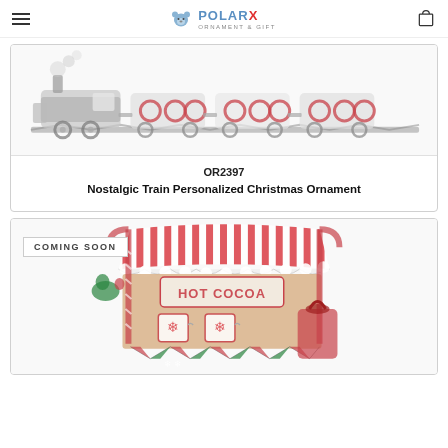PolarX Ornament & Gift
[Figure (illustration): Nostalgic train toy ornament illustration, showing colorful red and white train cars on a track, partially cropped]
OR2397
Nostalgic Train Personalized Christmas Ornament
[Figure (illustration): Hot Cocoa stand Christmas ornament illustration with red and white striped awning, HOT COCOA sign, mugs with snowflakes, candy cane poles, colorful bunting. Badge reads COMING SOON.]